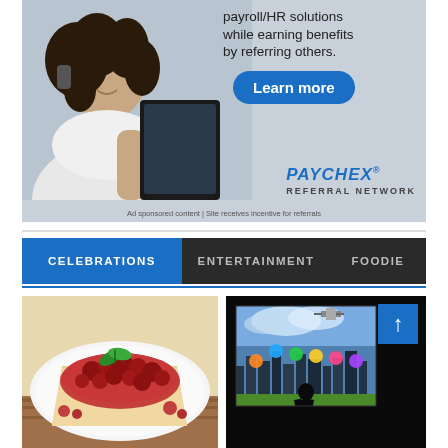[Figure (photo): Advertisement banner for Paychex Referral Network showing a woman with curly hair looking at a tablet. Text reads 'payroll/HR solutions while earning benefits by referring others.' with a blue 'Learn more' button and Paychex Referral Network logo. Footnote: 'Ad sponsored content | Site receives incentive for referrals']
[Figure (screenshot): Website navigation bar with three tabs: CELEBRATIONS (blue/active), ENTERTAINMENT (dark), FOODIE (dark)]
[Figure (photo): Food photo showing a berry cheesecake or dessert with red berries and mint garnish on a white plate]
[Figure (photo): Dark image showing a futuristic smart city scene with a silhouette of a person, with a blue square containing an upward arrow in the top right corner]